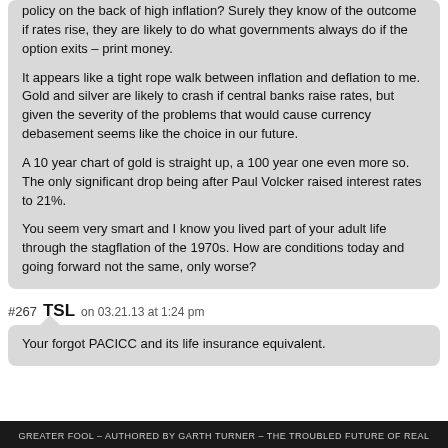policy on the back of high inflation? Surely they know of the outcome if rates rise, they are likely to do what governments always do if the option exits – print money.
It appears like a tight rope walk between inflation and deflation to me. Gold and silver are likely to crash if central banks raise rates, but given the severity of the problems that would cause currency debasement seems like the choice in our future.
A 10 year chart of gold is straight up, a 100 year one even more so. The only significant drop being after Paul Volcker raised interest rates to 21%.
You seem very smart and I know you lived part of your adult life through the stagflation of the 1970s. How are conditions today and going forward not the same, only worse?
#267  TSL  on 03.21.13 at 1:24 pm
Your forgot PACICC and its life insurance equivalent.
GREATER FOOL – AUTHORED BY GARTH TURNER – THE TROUBLED FUTURE OF REAL